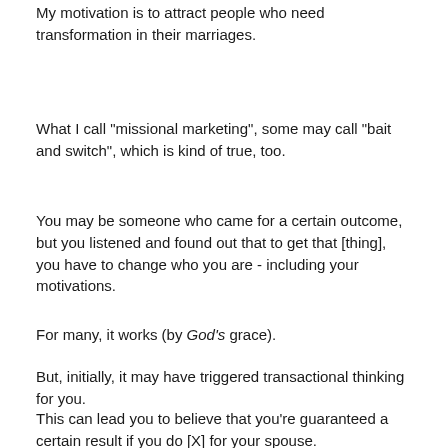My motivation is to attract people who need transformation in their marriages.
What I call "missional marketing", some may call "bait and switch", which is kind of true, too.
You may be someone who came for a certain outcome, but you listened and found out that to get that [thing], you have to change who you are - including your motivations.
For many, it works (by God's grace).
But, initially, it may have triggered transactional thinking for you.
This can lead you to believe that you're guaranteed a certain result if you do [X] for your spouse.
Here's what I hope for you.